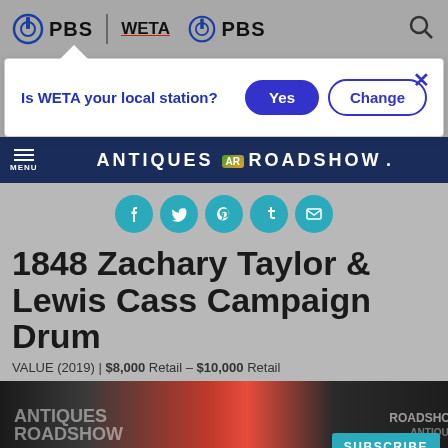PBS | WETA PBS
Is WETA your local station? [Yes] [Change]
ANTIQUES AR ROADSHOW — MENU
[Figure (other): Social media share icons row: Facebook, Twitter, Pinterest, Tumblr, Email — teal circles]
1848 Zachary Taylor & Lewis Cass Campaign Drum
VALUE (2019) | $8,000 Retail – $10,000 Retail
[Figure (photo): Photo of Antiques Roadshow backdrop with people, partial view; SUBSCRIBE button overlay]